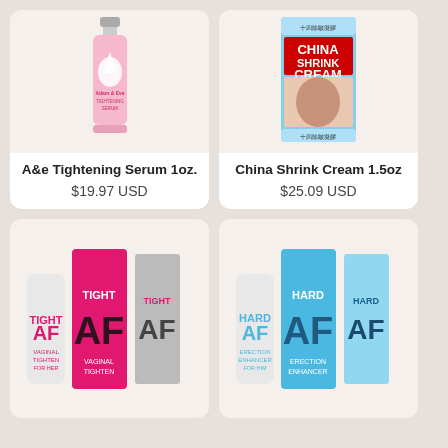[Figure (photo): A&e Tightening Serum 1oz product bottle - pink and white spray bottle]
A&e Tightening Serum 1oz.
$19.97 USD
[Figure (photo): China Shrink Cream 1.5oz product box - blue and white box]
China Shrink Cream 1.5oz
$25.09 USD
[Figure (photo): Tight AF vaginal tightening cream product - tube and box in pink]
[Figure (photo): Hard AF erection enhancer product - tube and box in blue]